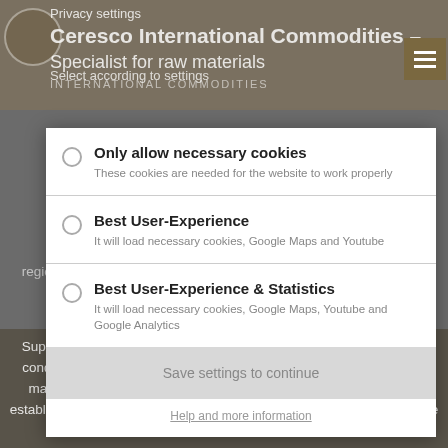Privacy settings | Ceresco International Commodities – Specialist for raw materials
Select according to settings
Only allow necessary cookies – These cookies are needed for the website to work properly
Best User-Experience – It will load necessary cookies, Google Maps and Youtube
Best User-Experience & Statistics – It will load necessary cookies, Google Maps, Youtube and Google Analytics
Save settings to continue
Help and more information
regions and a good knowledge of regional market conditions enable
Suppliers are selected according to their quality standards and local conditions. We make a pre-selection for you, take care of document management and prepare your audit trips if required. For you, the establishment of new suppliers takes place with a minimum expenditure of time and low risk.